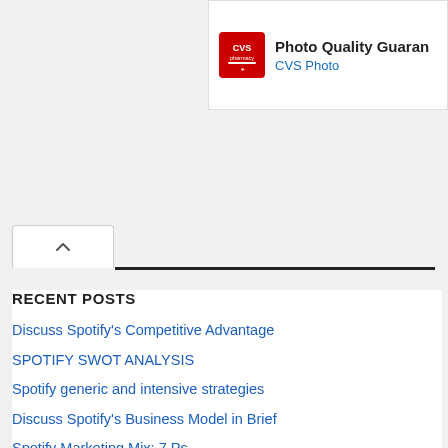[Figure (screenshot): CVS Photo advertisement banner with logo and 'Photo Quality Guarantee' text and 'CVS Photo' subtitle]
RECENT POSTS
Discuss Spotify's Competitive Advantage
SPOTIFY SWOT ANALYSIS
Spotify generic and intensive strategies
Discuss Spotify's Business Model in Brief
Spotify Marketing Mix: 7 Ps
Discuss the challenges facing the recycling industry
Discuss the benefits of supply chain digitalization
Discuss how marketing and HR partnership benefits the organization